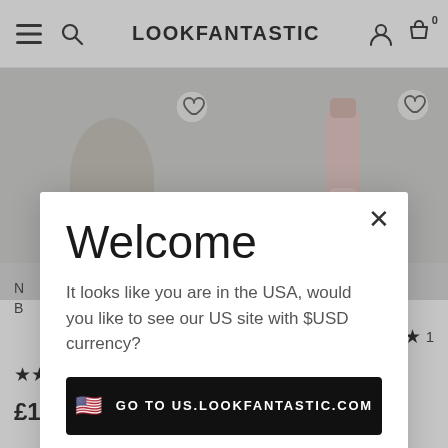LOOKFANTASTIC
[Figure (screenshot): Website screenshot of lookfantastic.com showing a popup modal with a geo-redirect prompt asking users if they want to visit the US site with USD currency.]
Welcome
It looks like you are in the USA, would you like to see our US site with $USD currency?
GO TO US.LOOKFANTASTIC.COM
No Thanks, Stay on LOOKFANTASTIC.COM
6
1
£13.00
£13.00